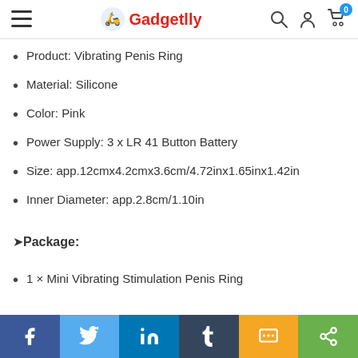Gadgetlly
Product: Vibrating Penis Ring
Material: Silicone
Color: Pink
Power Supply: 3 x LR 41 Button Battery
Size: app.12cmx4.2cmx3.6cm/4.72inx1.65inx1.42in
Inner Diameter: app.2.8cm/1.10in
➤Package:
1 × Mini Vibrating Stimulation Penis Ring